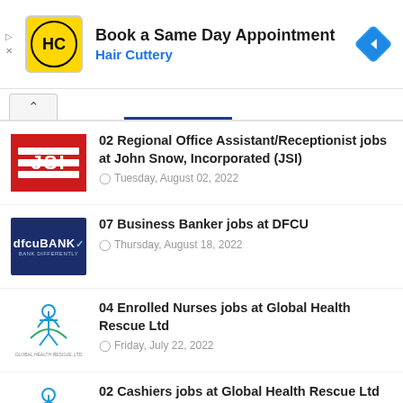[Figure (screenshot): Hair Cuttery advertisement banner: yellow HC logo icon, text 'Book a Same Day Appointment' and 'Hair Cuttery' in blue, blue navigation diamond icon on the right.]
02 Regional Office Assistant/Receptionist jobs at John Snow, Incorporated (JSI)
Tuesday, August 02, 2022
07 Business Banker jobs at DFCU
Thursday, August 18, 2022
04 Enrolled Nurses jobs at Global Health Rescue Ltd
Friday, July 22, 2022
02 Cashiers jobs at Global Health Rescue Ltd
Friday, July 22, 2022